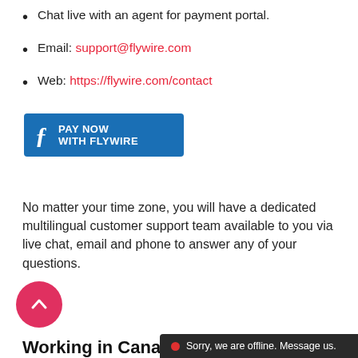Chat live with an agent for payment portal.
Email: support@flywire.com
Web: https://flywire.com/contact
[Figure (other): Blue 'Pay Now with Flywire' button with Flywire logo icon]
No matter your time zone, you will have a dedicated multilingual customer support team available to you via live chat, email and phone to answer any of your questions.
Working in Canada